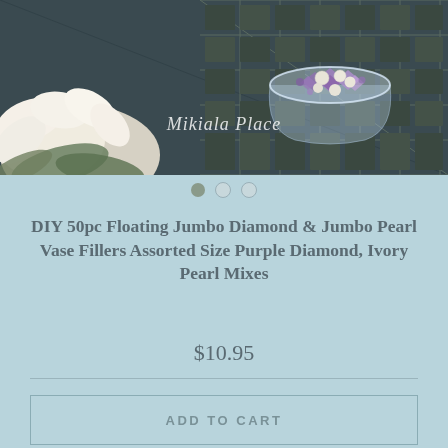[Figure (photo): Product photo showing a decorative glass bowl/vase filled with purple/lavender floating diamonds and ivory pearl beads, with a white flower (magnolia or gardenia) and green leaves in the foreground on a dark grid/tray background. Watermark text reads 'Mikiala Place' in white cursive.]
DIY 50pc Floating Jumbo Diamond & Jumbo Pearl Vase Fillers Assorted Size Purple Diamond, Ivory Pearl Mixes
$10.95
ADD TO CART